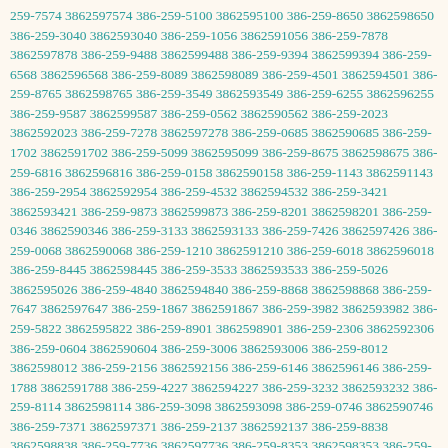259-7574 3862597574 386-259-5100 3862595100 386-259-8650 3862598650 386-259-3040 3862593040 386-259-1056 3862591056 386-259-7878 3862597878 386-259-9488 3862599488 386-259-9394 3862599394 386-259-6568 3862596568 386-259-8089 3862598089 386-259-4501 3862594501 386-259-8765 3862598765 386-259-3549 3862593549 386-259-6255 3862596255 386-259-9587 3862599587 386-259-0562 3862590562 386-259-2023 3862592023 386-259-7278 3862597278 386-259-0685 3862590685 386-259-1702 3862591702 386-259-5099 3862595099 386-259-8675 3862598675 386-259-6816 3862596816 386-259-0158 3862590158 386-259-1143 3862591143 386-259-2954 3862592954 386-259-4532 3862594532 386-259-3421 3862593421 386-259-9873 3862599873 386-259-8201 3862598201 386-259-0346 3862590346 386-259-3133 3862593133 386-259-7426 3862597426 386-259-0068 3862590068 386-259-1210 3862591210 386-259-6018 3862596018 386-259-8445 3862598445 386-259-3533 3862593533 386-259-5026 3862595026 386-259-4840 3862594840 386-259-8868 3862598868 386-259-7647 3862597647 386-259-1867 3862591867 386-259-3982 3862593982 386-259-5822 3862595822 386-259-8901 3862598901 386-259-2306 3862592306 386-259-0604 3862590604 386-259-3006 3862593006 386-259-8012 3862598012 386-259-2156 3862592156 386-259-6146 3862596146 386-259-1788 3862591788 386-259-4227 3862594227 386-259-3232 3862593232 386-259-8114 3862598114 386-259-3098 3862593098 386-259-0746 3862590746 386-259-7371 3862597371 386-259-2137 3862592137 386-259-8838 3862598838 386-259-7736 3862597736 386-259-8353 3862598353 386-259-2599 3862592599 386-259-3581 3862593581 386-259-0295 3862590295 386-259-2170 3862592170 386-259-8053